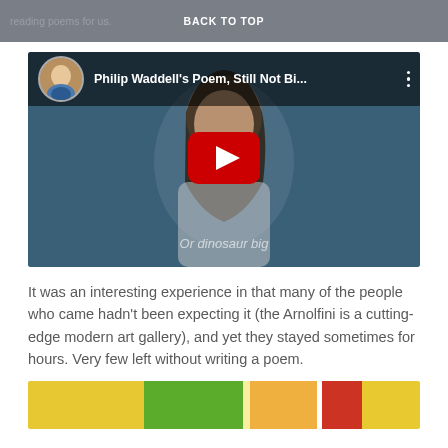reading poems for us.  BACK TO TOP
[Figure (screenshot): YouTube video thumbnail showing a young girl with long dark hair against a blue background. Video title reads 'Philip Waddell's Poem, Still Not Bi...' with subtitle text 'Or dinosaur big' visible at the bottom of the video. A red YouTube play button is centered on the video.]
It was an interesting experience in that many of the people who came hadn't been expecting it (the Arnolfini is a cutting-edge modern art gallery), and yet they stayed sometimes for hours. Very few left without writing a poem.
[Figure (photo): Partial view of colorful papers or sticky notes in yellow, green, orange, and red colors, appearing to show written poems or notes.]